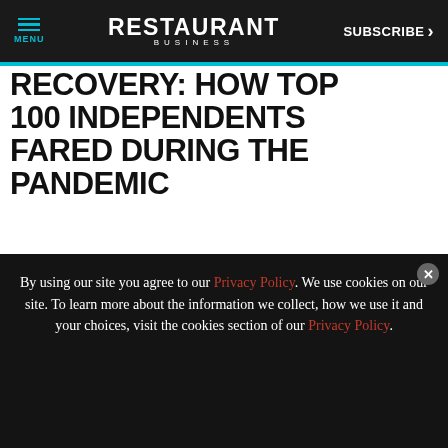MENU | RESTAURANT BUSINESS | SUBSCRIBE >
RECOVERY: HOW TOP 100 INDEPENDENTS FARED DURING THE PANDEMIC
[Figure (screenshot): Advertisement banner for FSTEC event: SEPT. 19-21, 2022, GAYLORD TEXAN, DALLAS, TX | FSTEC.COM with a Learn More button]
[Figure (screenshot): Google reCAPTCHA widget showing a checkmark icon with Privacy - Terms text]
By using our site you agree to our Privacy Policy. We use cookies on our site. To learn more about the information we collect, how we use it and your choices, visit the cookies section of our Privacy Policy.